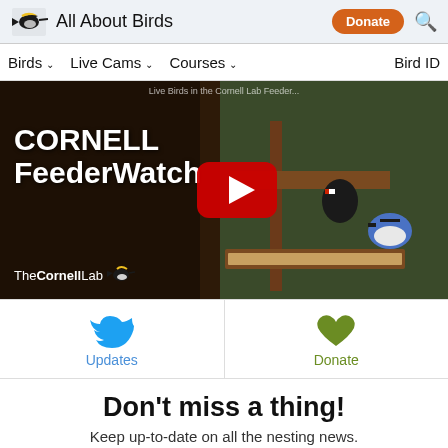All About Birds | Donate | Search
Birds | Live Cams | Courses | Bird ID
[Figure (screenshot): YouTube video thumbnail showing Cornell FeederWatch live cam with birds at a feeder. Text overlay reads 'CORNELL FeederWatch' with TheCornellLab logo and a YouTube play button.]
[Figure (infographic): Two-cell row: Twitter bird icon with 'Updates' link, and green heart icon with 'Donate' link]
Don't miss a thing!
Keep up-to-date on all the nesting news.